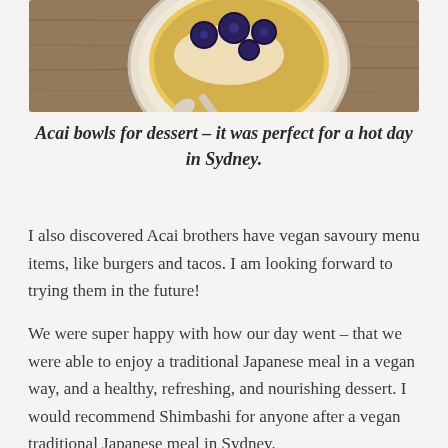[Figure (photo): Photo of acai bowl with blueberries on top, viewed from above, on a wooden surface]
Acai bowls for dessert – it was perfect for a hot day in Sydney.
I also discovered Acai brothers have vegan savoury menu items, like burgers and tacos. I am looking forward to trying them in the future!
We were super happy with how our day went – that we were able to enjoy a traditional Japanese meal in a vegan way, and a healthy, refreshing, and nourishing dessert. I would recommend Shimbashi for anyone after a vegan traditional Japanese meal in Sydney.